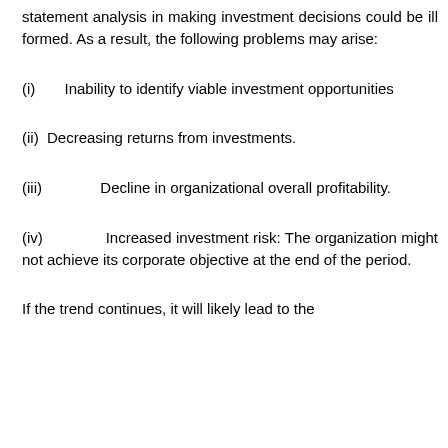statement analysis in making investment decisions could be ill formed. As a result, the following problems may arise:
(i)      Inability to identify viable investment opportunities
(ii)  Decreasing returns from investments.
(iii)            Decline in organizational overall profitability.
(iv)            Increased investment risk: The organization might not achieve its corporate objective at the end of the period.
If the trend continues, it will likely lead to the